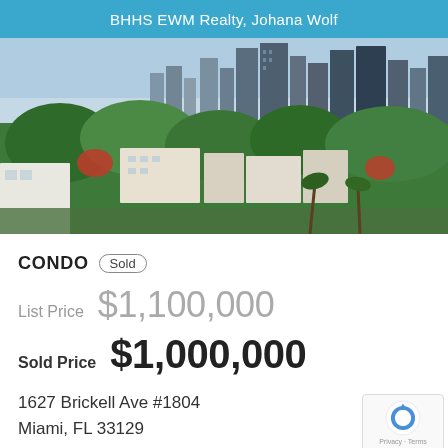BHHS EWM Realty, Johana Wolf
[Figure (photo): Aerial/elevated view of a Miami cityscape with lush tropical trees, residential buildings and condos in foreground, and downtown Miami skyscrapers in the background.]
CONDO  Sold
List Price  $1,100,000
Sold Price  $1,000,000
1627 Brickell Ave #1804
Miami, FL 33129